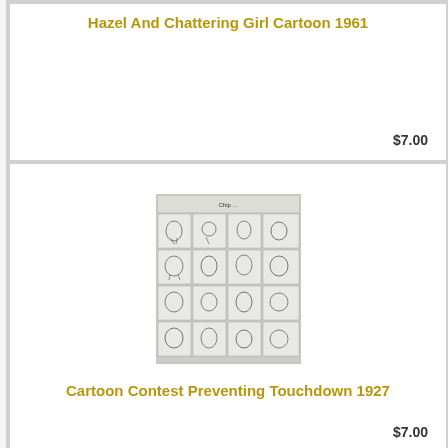Hazel And Chattering Girl Cartoon 1961
$7.00
[Figure (photo): A sheet showing a grid of comic strip panels from a cartoon, black and white newspaper comic pages arranged in a 4-column by 4-row grid layout.]
Cartoon Contest Preventing Touchdown 1927
$7.00